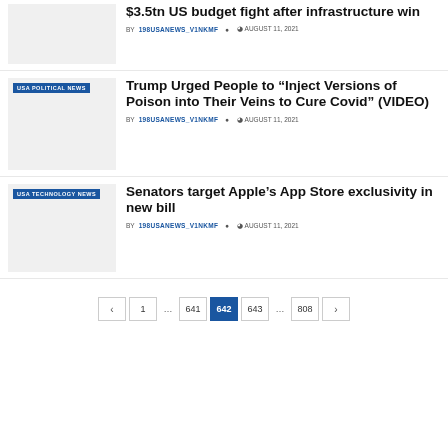[Figure (photo): Thumbnail image placeholder for first article about $3.5tn US budget fight]
$3.5tn US budget fight after infrastructure win
BY 198USANEWS_V1NKMF  AUGUST 11, 2021
[Figure (photo): Thumbnail image placeholder with USA POLITICAL NEWS tag for Trump article]
Trump Urged People to “Inject Versions of Poison into Their Veins to Cure Covid” (VIDEO)
BY 198USANEWS_V1NKMF  AUGUST 11, 2021
[Figure (photo): Thumbnail image placeholder with USA TECHNOLOGY NEWS tag for Apple App Store article]
Senators target Apple’s App Store exclusivity in new bill
BY 198USANEWS_V1NKMF  AUGUST 11, 2021
< 1 ... 641 642 643 ... 808 >